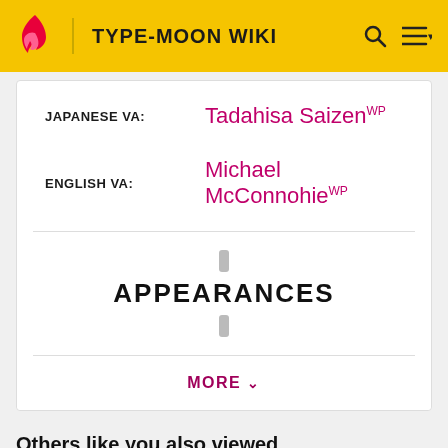TYPE-MOON WIKI
JAPANESE VA: Tadahisa SaizenWP
ENGLISH VA: Michael McConnohieWP
APPEARANCES
MORE
Others like you also viewed